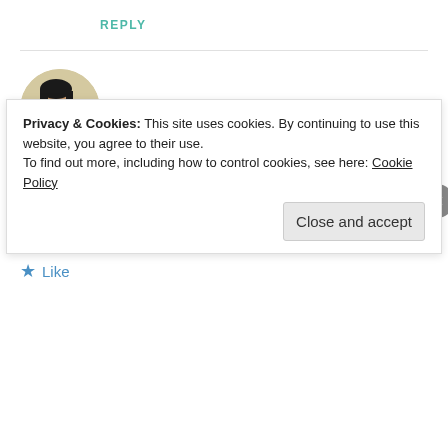REPLY
Niels Saunders
SEPTEMBER 14, 2016 AT 9:19 AM
Thank you very much for the reblog, Jeremy. I'm honoured!
★ Like
Privacy & Cookies: This site uses cookies. By continuing to use this website, you agree to their use.
To find out more, including how to control cookies, see here: Cookie Policy
Close and accept